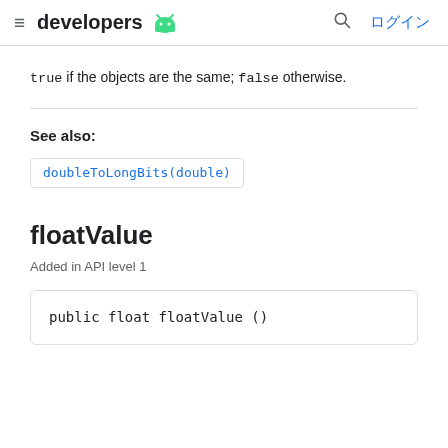≡  developers  🤖   🔍  ログイン
true if the objects are the same; false otherwise.
See also:
doubleToLongBits(double)
floatValue
Added in API level 1
public float floatValue ()